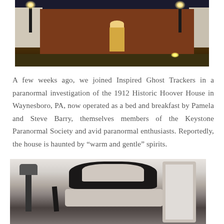[Figure (photo): Nighttime exterior photo of the 1912 Historic Hoover House, a brick building with white porches, illuminated by lamppost lights and ground spotlights]
A few weeks ago, we joined Inspired Ghost Trackers in a paranormal investigation of the 1912 Historic Hoover House in Waynesboro, PA, now operated as a bed and breakfast by Pamela and Steve Barry, themselves members of the Keystone Paranormal Society and avid paranormal enthusiasts. Reportedly, the house is haunted by “warm and gentle” spirits.
[Figure (photo): Black and white interior photo showing an ornate antique chair with decorative carved back, a floor lamp, and a mirror frame]